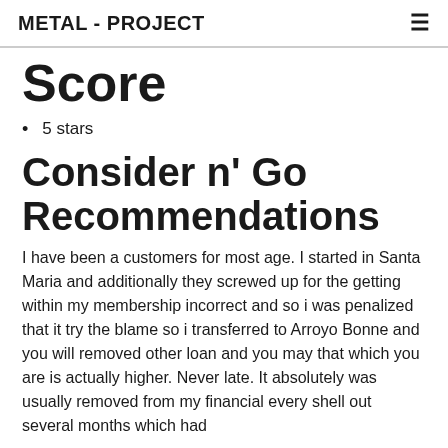METAL - PROJECT
Score
5 stars
Consider n' Go Recommendations
I have been a customers for most age. I started in Santa Maria and additionally they screwed up for the getting within my membership incorrect and so i was penalized that it try the blame so i transferred to Arroyo Bonne and you will removed other loan and you may that which you are is actually higher. Never late. It absolutely was usually removed from my financial every shell out several months which had